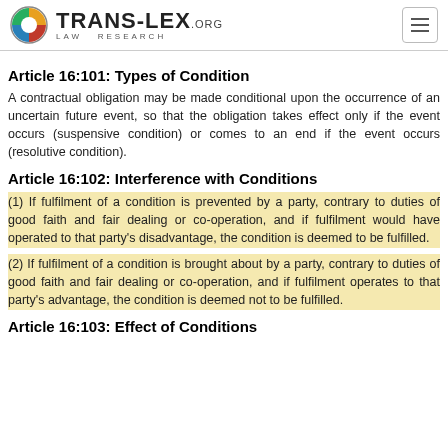TRANS-LEX.ORG LAW RESEARCH
Article 16:101: Types of Condition
A contractual obligation may be made conditional upon the occurrence of an uncertain future event, so that the obligation takes effect only if the event occurs (suspensive condition) or comes to an end if the event occurs (resolutive condition).
Article 16:102: Interference with Conditions
(1) If fulfilment of a condition is prevented by a party, contrary to duties of good faith and fair dealing or co-operation, and if fulfilment would have operated to that party's disadvantage, the condition is deemed to be fulfilled.
(2) If fulfilment of a condition is brought about by a party, contrary to duties of good faith and fair dealing or co-operation, and if fulfilment operates to that party's advantage, the condition is deemed not to be fulfilled.
Article 16:103: Effect of Conditions